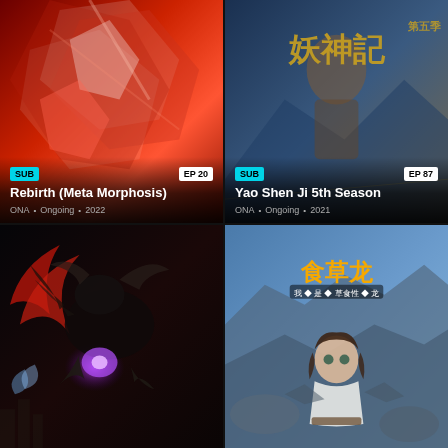[Figure (screenshot): Anime thumbnail grid showing 4 anime series cards. Top-left: Rebirth (Meta Morphosis) - red/white angular mecha art, SUB badge, EP 20, ONA Ongoing 2022. Top-right: Yao Shen Ji 5th Season - Chinese fantasy art with characters and gold Chinese characters, SUB badge, EP 87, ONA Ongoing 2021. Bottom-left: Dark dragon/creature fantasy art with glowing purple light. Bottom-right: Chinese anime art with girl character and colorful Chinese title logo.]